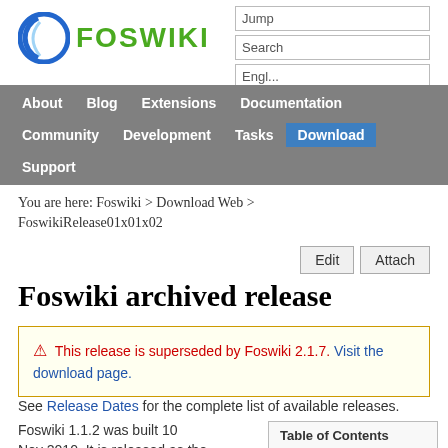[Figure (logo): Foswiki logo: blue crescent circle icon with green FOSWIKI text]
Jump
Search
About  Blog  Extensions  Documentation
Community  Development  Tasks  Download
Support
You are here: Foswiki > Download Web > FoswikiRelease01x01x02
Edit  Attach
Foswiki archived release
⚠ This release is superseded by Foswiki 2.1.7. Visit the download page.
See Release Dates for the complete list of available releases.
Foswiki 1.1.2 was built 10 Nov 2010. It is released as the...
| Table of Contents |
| --- |